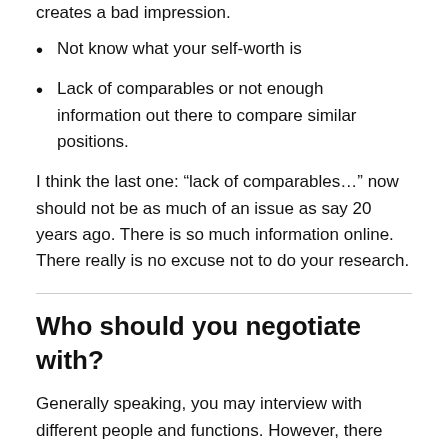creates a bad impression.
Not know what your self-worth is
Lack of comparables or not enough information out there to compare similar positions.
I think the last one: “lack of comparables…” now should not be as much of an issue as say 20 years ago. There is so much information online. There really is no excuse not to do your research.
Who should you negotiate with?
Generally speaking, you may interview with different people and functions. However, there probably is a person who has an internal recruiter (or HR business partner) type role who explains the process and gives you